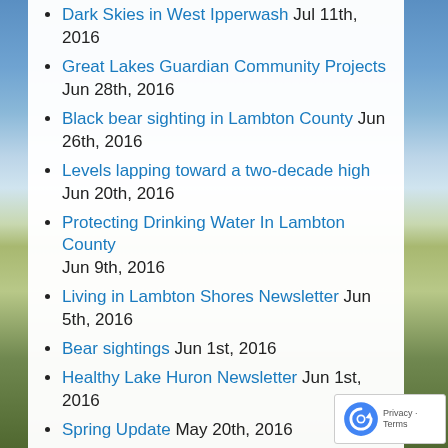Dark Skies in West Ipperwash Jul 11th, 2016
Great Lakes Guardian Community Projects Jun 28th, 2016
Black bear sighting in Lambton County Jun 26th, 2016
Levels lapping toward a two-decade high Jun 20th, 2016
Protecting Drinking Water In Lambton County Jun 9th, 2016
Living in Lambton Shores Newsletter Jun 5th, 2016
Bear sightings Jun 1st, 2016
Healthy Lake Huron Newsletter Jun 1st, 2016
Spring Update May 20th, 2016
Open House June 4 May 17th, 2016
West Ipperwash Clean Up May 14th, 2016
International recognition of Camp